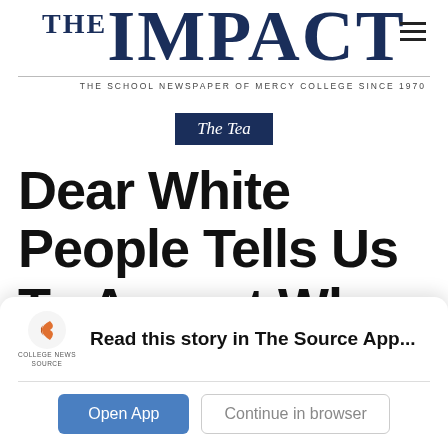THE IMPACT — THE SCHOOL NEWSPAPER OF MERCY COLLEGE SINCE 1970
The Tea
Dear White People Tells Us To Accept Who You Are
Read this story in The Source App...
Open App   Continue in browser